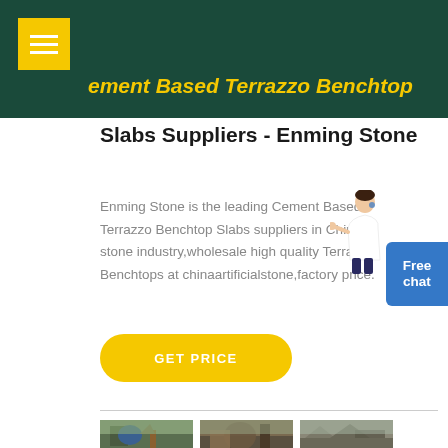Cement Based Terrazzo Benchtop Slabs Suppliers - Enming Stone
Slabs Suppliers - Enming Stone
Enming Stone is the leading Cement Based Terrazzo Benchtop Slabs suppliers in China stone industry,wholesale high quality Terrazzo Benchtops at chinaartificialstone,factory price.
[Figure (other): Free chat button with blue background]
[Figure (other): GET PRICE yellow rounded button]
[Figure (photo): Three photos of stone quarry/mining facility operations]
[Figure (photo): Stone quarry industrial machinery, middle photo]
[Figure (photo): Stone quarry industrial site, right photo]